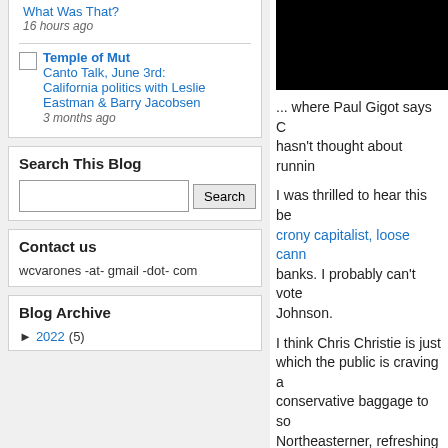What Was That? 16 hours ago
Temple of Mut — Canto Talk, June 3rd: California politics with Leslie Eastman & Barry Jacobsen — 3 months ago
Search This Blog
Contact us
wcvarones -at- gmail -dot- com
Blog Archive
► 2022 (5)
[Figure (photo): Black image/photo area in top right corner]
... where Paul Gigot says C hasn't thought about runnin
I was thrilled to hear this be crony capitalist, loose cann banks. I probably can't vote Johnson.
I think Chris Christie is just which the public is craving a conservative baggage to so Northeasterner, refreshing like Pennsylvania and New working with a Democratic employee unions which Am
Along comes fellow San Di Christie. Shane did a great Please click on over and